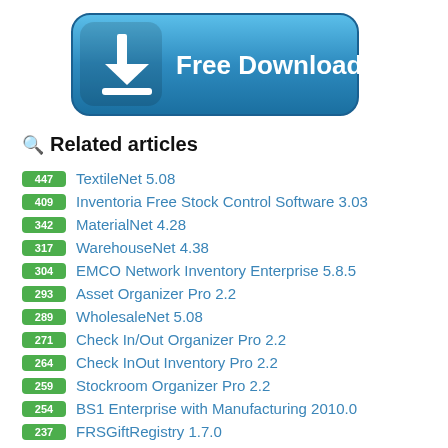[Figure (illustration): Blue rounded rectangle Free Download button with a white download arrow icon on the left and 'Free Download' text in white bold font on the right]
🔍 Related articles
447  TextileNet 5.08
409  Inventoria Free Stock Control Software 3.03
342  MaterialNet 4.28
317  WarehouseNet 4.38
304  EMCO Network Inventory Enterprise 5.8.5
293  Asset Organizer Pro 2.2
289  WholesaleNet 5.08
271  Check In/Out Organizer Pro 2.2
264  Check InOut Inventory Pro 2.2
259  Stockroom Organizer Pro 2.2
254  BS1 Enterprise with Manufacturing 2010.0
237  FRSGiftRegistry 1.7.0